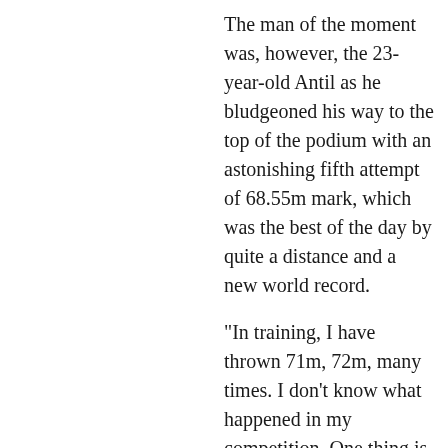The man of the moment was, however, the 23-year-old Antil as he bludgeoned his way to the top of the podium with an astonishing fifth attempt of 68.55m mark, which was the best of the day by quite a distance and a new world record.
"In training, I have thrown 71m, 72m, many times. I don't know what happened in my competition. One thing is for sure: in future I will throw much better," Antil said after the stupendous performance